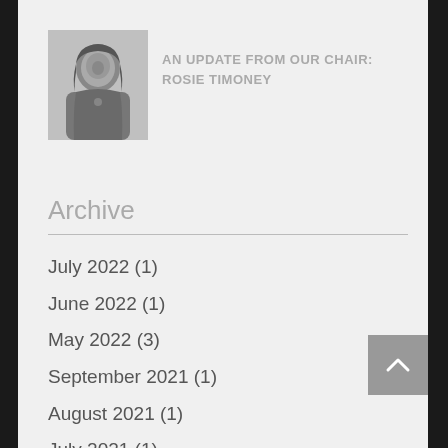[Figure (photo): Black and white portrait photo of a woman (Rosie Timoney)]
AN UPDATE FROM OUR CHAIR: ROSIE TIMONEY
Archive
July 2022 (1)
June 2022 (1)
May 2022 (3)
September 2021 (1)
August 2021 (1)
July 2021 (1)
April 2021 (1)
October 2020 (1)